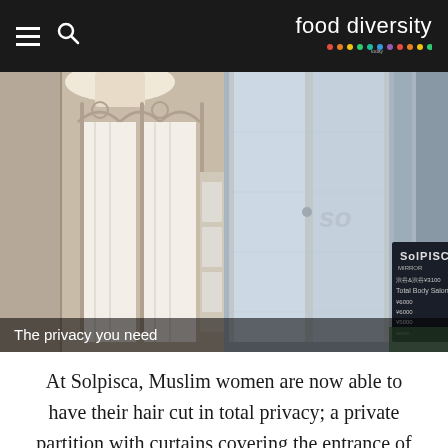food diversity
[Figure (photo): Two-panel photo: left panel shows a white privacy curtain/partition with decorative metal frame inside a salon; right panel shows frosted glass sliding doors of a salon exterior with a dark chalkboard sign reading 'SolPISCa' and other text. Caption overlay reads 'The privacy you need'.]
The privacy you need
At Solpisca, Muslim women are now able to have their hair cut in total privacy; a private partition with curtains covering the entrance of the salon so that they would